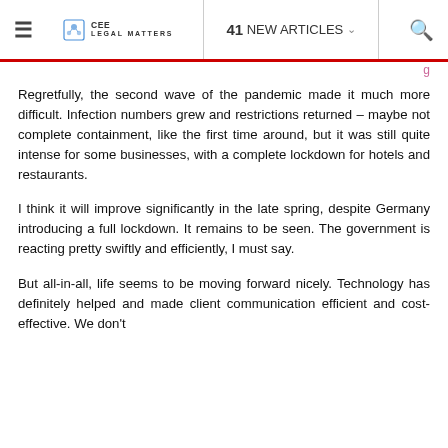≡  CEE LEGAL MATTERS  |  41 NEW ARTICLES  🔍
Regretfully, the second wave of the pandemic made it much more difficult. Infection numbers grew and restrictions returned – maybe not complete containment, like the first time around, but it was still quite intense for some businesses, with a complete lockdown for hotels and restaurants.
I think it will improve significantly in the late spring, despite Germany introducing a full lockdown. It remains to be seen. The government is reacting pretty swiftly and efficiently, I must say.
But all-in-all, life seems to be moving forward nicely. Technology has definitely helped and made client communication efficient and cost-effective. We don't